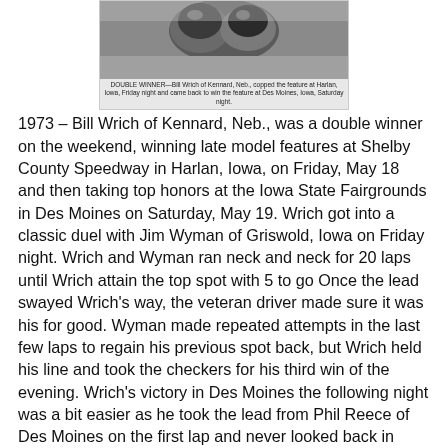[Figure (photo): Black and white photograph of a racing driver, shown from behind/side, wearing a helmet, in a race car. Caption below reads: DOUBLE WINNER—Bill Wrich of Kennard, Neb., copped the feature at Harlan, Iowa, Friday night and came back to win the feature at Des Moines, Iowa, Saturday night.]
DOUBLE WINNER—Bill Wrich of Kennard, Neb., copped the feature at Harlan, Iowa, Friday night and came back to win the feature at Des Moines, Iowa, Saturday night.
1973 – Bill Wrich of Kennard, Neb., was a double winner on the weekend, winning late model features at Shelby County Speedway in Harlan, Iowa, on Friday, May 18 and then taking top honors at the Iowa State Fairgrounds in Des Moines on Saturday, May 19. Wrich got into a classic duel with Jim Wyman of Griswold, Iowa on Friday night. Wrich and Wyman ran neck and neck for 20 laps until Wrich attain the top spot with 5 to go Once the lead swayed Wrich's way, the veteran driver made sure it was his for good. Wyman made repeated attempts in the last few laps to regain his previous spot back, but Wrich held his line and took the checkers for his third win of the evening. Wrich's victory in Des Moines the following night was a bit easier as he took the lead from Phil Reece of Des Moines on the first lap and never looked back in winning the 25-lap feature. Bill McDonough of Cedar Rapids, Iowa would score runner-up honors and Reece would settle for third. Don Hoffman of Des Moines and Darrell Dake of Cedar Rapids would round out the top five.